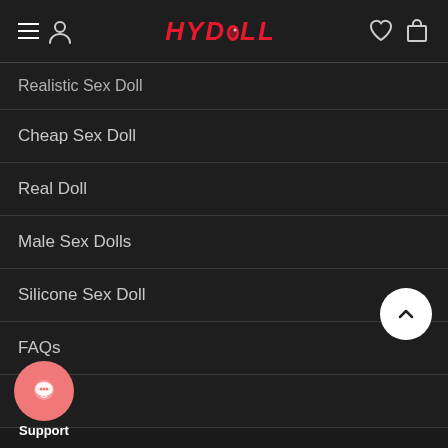HYDOLL navigation header with hamburger menu, user icon, logo, wishlist and cart icons
Realistic Sex Doll
Cheap Sex Doll
Real Doll
Male Sex Dolls
Silicone Sex Doll
FAQs
Blog
[Figure (screenshot): Scroll-to-top button (white circle with upward chevron)]
[Figure (screenshot): Support chat button (pink circle with chat icon) with Support label]